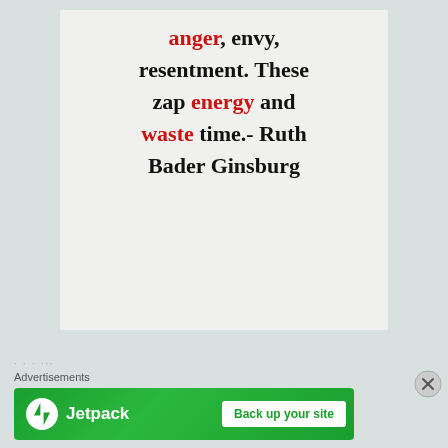anger, envy, resentment. These zap energy and waste time.- Ruth Bader Ginsburg
Advertisements
[Figure (illustration): Jetpack advertisement banner with green background, Jetpack logo on left and 'Back up your site' button on right]